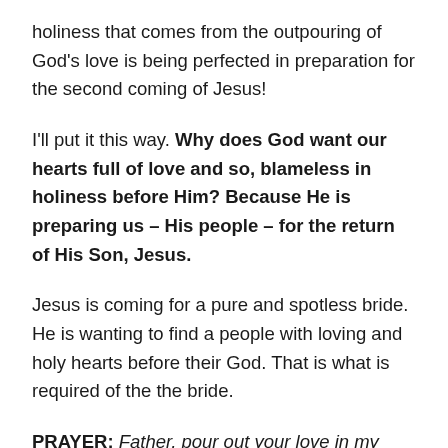holiness that comes from the outpouring of God's love is being perfected in preparation for the second coming of Jesus!
I'll put it this way. Why does God want our hearts full of love and so, blameless in holiness before Him? Because He is preparing us – His people – for the return of His Son, Jesus.
Jesus is coming for a pure and spotless bride. He is wanting to find a people with loving and holy hearts before their God. That is what is required of the the bride.
PRAYER: Father, pour out your love in my heart. Fill